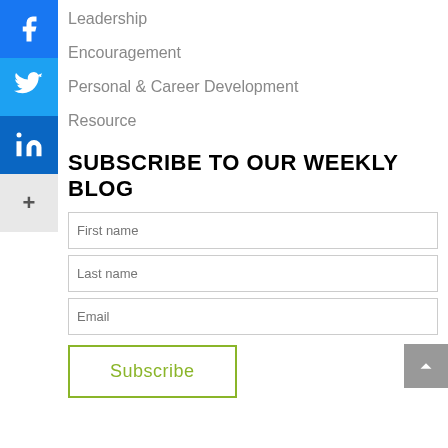Leadership
Encouragement
Personal & Career Development
Resource
SUBSCRIBE TO OUR WEEKLY BLOG
First name
Last name
Email
Subscribe